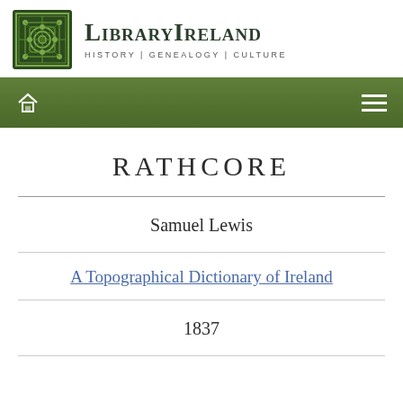LibraryIreland — History | Genealogy | Culture
RATHCORE
Samuel Lewis
A Topographical Dictionary of Ireland
1837